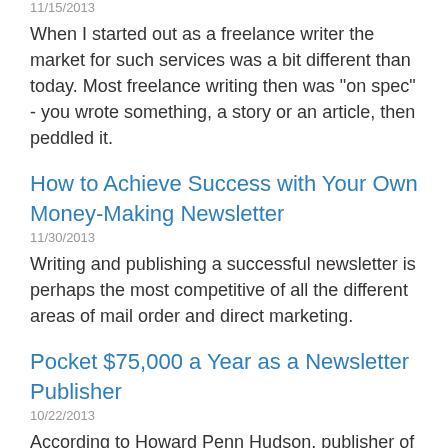11/15/2013
When I started out as a freelance writer the market for such services was a bit different than today. Most freelance writing then was "on spec" - you wrote something, a story or an article, then peddled it.
How to Achieve Success with Your Own Money-Making Newsletter
11/30/2013
Writing and publishing a successful newsletter is perhaps the most competitive of all the different areas of mail order and direct marketing.
Pocket $75,000 a Year as a Newsletter Publisher
10/22/2013
According to Howard Penn Hudson, publisher of The Newsletter of Newsletters, "there are at least 100,000 professional and amateur newsletters in the United States--some estimate as many as 500,000--and they are read by millions of people."